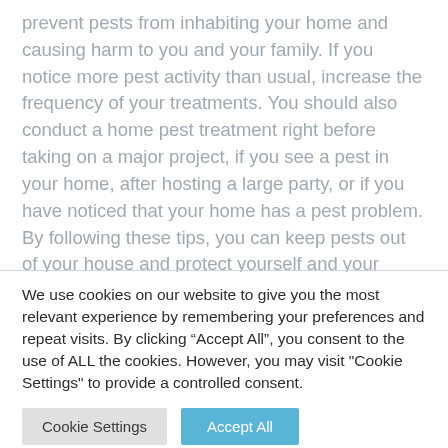prevent pests from inhabiting your home and causing harm to you and your family. If you notice more pest activity than usual, increase the frequency of your treatments. You should also conduct a home pest treatment right before taking on a major project, if you see a pest in your home, after hosting a large party, or if you have noticed that your home has a pest problem. By following these tips, you can keep pests out of your house and protect yourself and your loved ones from any harmful effects they may cause.
We use cookies on our website to give you the most relevant experience by remembering your preferences and repeat visits. By clicking “Accept All”, you consent to the use of ALL the cookies. However, you may visit "Cookie Settings" to provide a controlled consent.